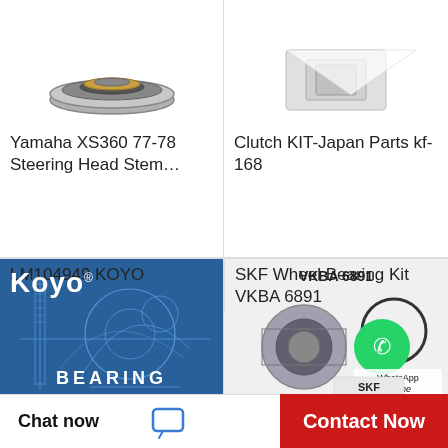[Figure (photo): Yamaha XS360 steering head stem bearing parts — top partial view showing seal rings on white background]
Yamaha XS360 77-78 Steering Head Stem…
[Figure (photo): Clutch KIT-Japan Parts kf-168 — partial product photo on white background]
Clutch KIT-Japan Parts kf-168
[Figure (logo): Koyo Bearing logo on blue background with technical bearing schematic drawing]
LM104949 KOYO
[Figure (photo): SKF Wheel Bearing Kit VKBA 6891 — wheel bearing and snap ring components with WhatsApp Online overlay badge and SKF branding]
SKF Wheel Bearing Kit VKBA 6891
Chat now
Contact Now